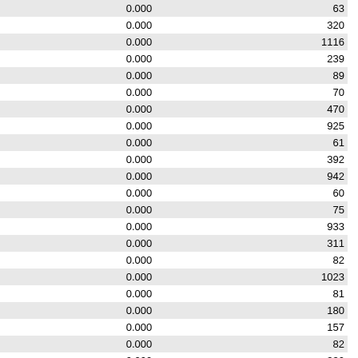| Name | Date | Value | Number |
| --- | --- | --- | --- |
| BT1 | 2021-08-24 08 | 0.000 | 63 |
| BTWM8 | 2021-08-24 23 | 0.000 | 320 |
| BUCC2 | 2021-08-25 06 | 0.000 | 1116 |
| BUCK1 | 2021-08-24 13 | 0.000 | 239 |
| BUCK2 | 2021-08-24 11 | 0.000 | 89 |
| BUF | 2021-08-25 00 | 0.000 | 70 |
| BUFC1 | 2021-08-25 06 | 0.000 | 470 |
| BUFC2 | 2021-08-25 05 | 0.000 | 925 |
| BUFI2 | 2021-08-24 12 | 0.000 | 61 |
| BUFN2 | 2021-08-25 06 | 0.000 | 392 |
| BUFU1 | 2021-08-25 01 | 0.000 | 942 |
| BUKV2 | 2021-08-24 11 | 0.000 | 60 |
| BUNM4 | 2021-08-24 11 | 0.000 | 75 |
| BURC2 | 2021-08-24 14 | 0.000 | 933 |
| BURV2 | 2021-08-24 09 | 0.000 | 311 |
| BUSW3 | 2021-08-24 13 | 0.000 | 82 |
| BUTC2 | 2021-08-25 06 | 0.000 | 1023 |
| BUTM7 | 2021-08-24 12 | 0.000 | 81 |
| BUTN1 | 2021-08-24 11 | 0.000 | 180 |
| BUTW3 | 2021-08-24 11 | 0.000 | 157 |
| BUVV2 | 2021-08-24 11 | 0.000 | 82 |
| BUXT2 | 2021-08-24 12 | 0.000 | 330 |
| BVDT2 | 2021-08-24 13 | 0.000 | 39 |
| BVOO2 | 2021-08-24 12 | 0.000 | 71 |
| BVRM7 | 2021-08-24 11 | 0.000 | 99 |
| BVRN6 | 2021-08-24 11 | 0.000 | 75 |
| BVUI1 | 2021-08-25 04 | 0.000 | 520 |
| BWLI3 | 2021-08-24 11 | 0.000 | 70 |
| BWQI1 | 2021-08-25 00 | 0.000 | 985 |